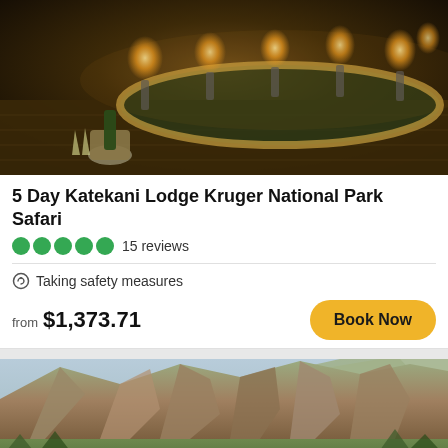[Figure (photo): Night-time outdoor pool at a safari lodge with glowing lanterns around the rim, champagne on ice in the foreground, warm amber lighting]
5 Day Katekani Lodge Kruger National Park Safari
15 reviews
Taking safety measures
from $1,373.71
Book Now
[Figure (photo): Group of tourists posing in front of the Three Rondavels or similar rocky mountain formation in South Africa, lush green hillsides visible]